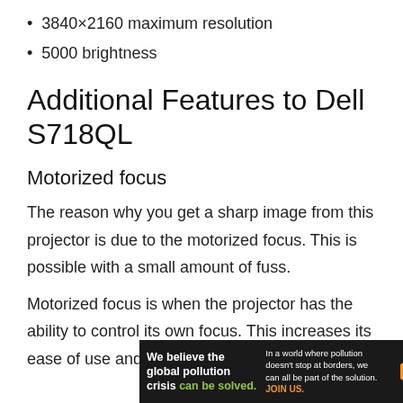3840×2160 maximum resolution
5000 brightness
Additional Features to Dell S718QL
Motorized focus
The reason why you get a sharp image from this projector is due to the motorized focus. This is possible with a small amount of fuss.
Motorized focus is when the projector has the ability to control its own focus. This increases its ease of use and convenience for you are us…
[Figure (other): Advertisement banner: Pure Earth pollution awareness ad with text 'We believe the global pollution crisis can be solved.' and 'In a world where pollution doesn't stop at borders, we can all be part of the solution. JOIN US.' with Pure Earth diamond logo.]